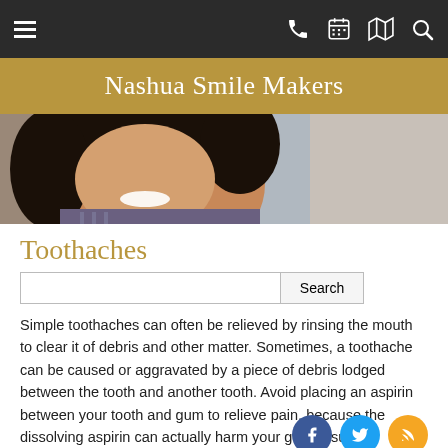[Figure (screenshot): Mobile website navigation bar with hamburger menu on left and phone, calendar, map, and search icons on right, dark background]
Nashua Smile Makers
[Figure (photo): Hero image of a smiling woman with dark hair, wearing a patterned shirt]
Toothaches
Search
Simple toothaches can often be relieved by rinsing the mouth to clear it of debris and other matter. Sometimes, a toothache can be caused or aggravated by a piece of debris lodged between the tooth and another tooth. Avoid placing an aspirin between your tooth and gum to relieve pain, because the dissolving aspirin can actually harm your gum tissue.
Broken, Fractured, or Displaced Teeth